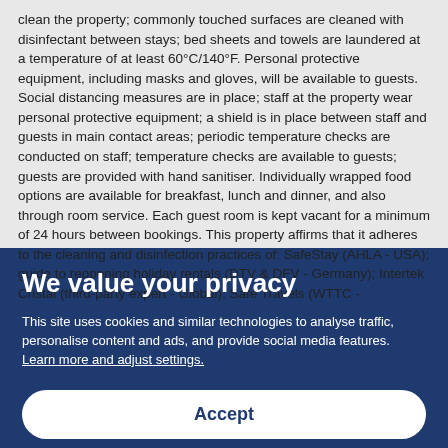clean the property; commonly touched surfaces are cleaned with disinfectant between stays; bed sheets and towels are laundered at a temperature of at least 60°C/140°F. Personal protective equipment, including masks and gloves, will be available to guests. Social distancing measures are in place; staff at the property wear personal protective equipment; a shield is in place between staff and guests in main contact areas; periodic temperature checks are conducted on staff; temperature checks are available to guests; guests are provided with hand sanitiser. Individually wrapped food options are available for breakfast, lunch and dinner, and also through room service. Each guest room is kept vacant for a minimum of 24 hours between bookings. This property affirms that it adheres to the cleaning and disinfection practices of: SafeStay (AHLA - USA); guide to reopening holiday rentals (DTV & DFV - Germany); Intertek Cristal (third-party expert - Global); Safe Travels (WTTC -
We value your privacy
This site uses cookies and similar technologies to analyse traffic, personalise content and ads, and provide social media features. Learn more and adjust settings.
Accept